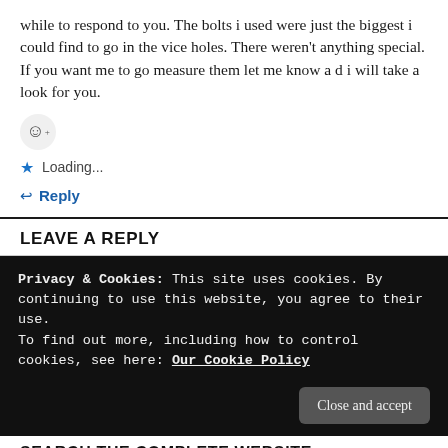while to respond to you. The bolts i used were just the biggest i could find to go in the vice holes. There weren't anything special. If you want me to go measure them let me know a d i will take a look for you.
[Figure (illustration): Emoji reaction button (smiley face with plus sign)]
★ Loading...
↩ Reply
LEAVE A REPLY
Privacy & Cookies: This site uses cookies. By continuing to use this website, you agree to their use.
To find out more, including how to control cookies, see here: Our Cookie Policy
Close and accept
SEARCH THE COMPLETE WEBSITE